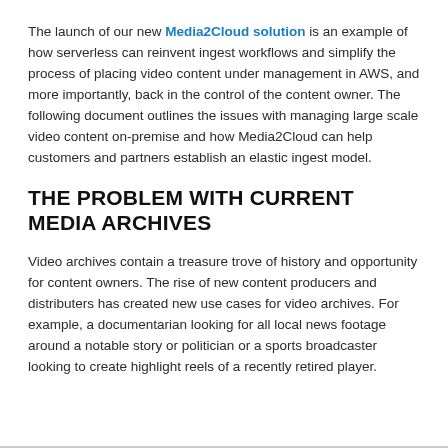The launch of our new Media2Cloud solution is an example of how serverless can reinvent ingest workflows and simplify the process of placing video content under management in AWS, and more importantly, back in the control of the content owner. The following document outlines the issues with managing large scale video content on-premise and how Media2Cloud can help customers and partners establish an elastic ingest model.
THE PROBLEM WITH CURRENT MEDIA ARCHIVES
Video archives contain a treasure trove of history and opportunity for content owners. The rise of new content producers and distributers has created new use cases for video archives. For example, a documentarian looking for all local news footage around a notable story or politician or a sports broadcaster looking to create highlight reels of a recently retired player.